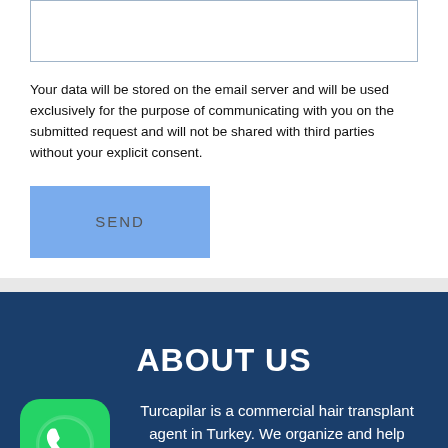[Figure (screenshot): Textarea input box (form element), light blue border]
Your data will be stored on the email server and will be used exclusively for the purpose of communicating with you on the submitted request and will not be shared with third parties without your explicit consent.
[Figure (other): SEND button, light blue background]
ABOUT US
Turcapilar is a commercial hair transplant agent in Turkey. We organize and help thousands of people to recover their hair aesthetics.
We are also inspired for Nat... and that th...